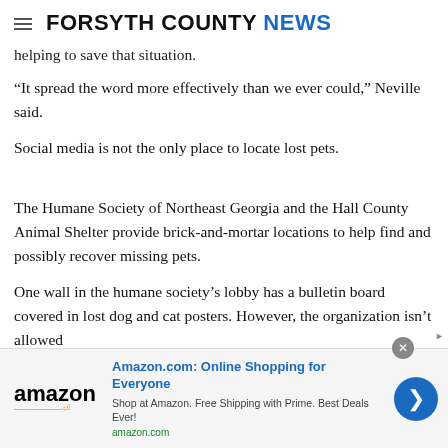FORSYTH COUNTY NEWS
helping to save that situation.
“It spread the word more effectively than we ever could,” Neville said.
Social media is not the only place to locate lost pets.
The Humane Society of Northeast Georgia and the Hall County Animal Shelter provide brick-and-mortar locations to help find and possibly recover missing pets.
One wall in the humane society’s lobby has a bulletin board covered in lost dog and cat posters. However, the organization isn’t allowed
[Figure (infographic): Amazon advertisement banner: Amazon.com: Online Shopping for Everyone. Shop at Amazon. Free Shipping with Prime. Best Deals Ever! amazon.com]